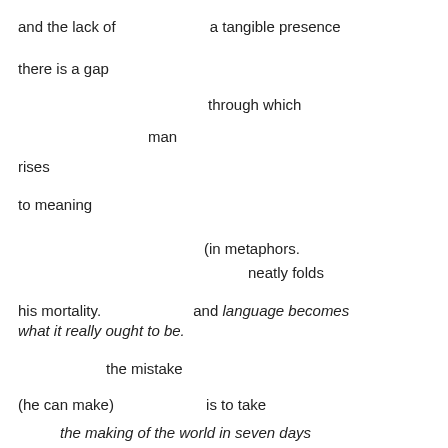and the lack of                    a tangible presence
there is a gap
through which
man
rises
to meaning
(in metaphors.
neatly folds
his mortality.              and language becomes
what it really ought to be.
the mistake
(he can make)              is to take
the making of the world in seven days